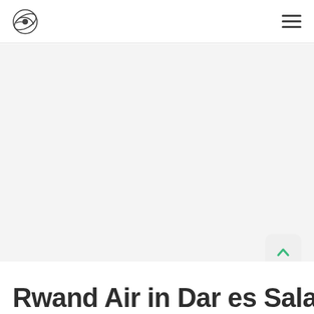Travel/aviation website header with logo and hamburger menu
[Figure (photo): Large hero image area, mostly light gray/empty (image not loaded or cropped)]
[Figure (other): Scroll-to-top button with green chevron up icon]
Rwand Air in Dar es Salaam